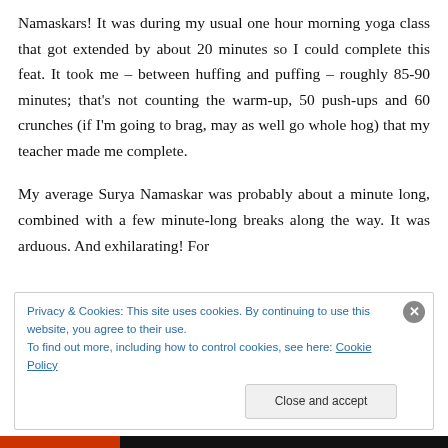Namaskars! It was during my usual one hour morning yoga class that got extended by about 20 minutes so I could complete this feat. It took me – between huffing and puffing – roughly 85-90 minutes; that's not counting the warm-up, 50 push-ups and 60 crunches (if I'm going to brag, may as well go whole hog) that my teacher made me complete.
My average Surya Namaskar was probably about a minute long, combined with a few minute-long breaks along the way. It was arduous. And exhilarating! For
Privacy & Cookies: This site uses cookies. By continuing to use this website, you agree to their use.
To find out more, including how to control cookies, see here: Cookie Policy